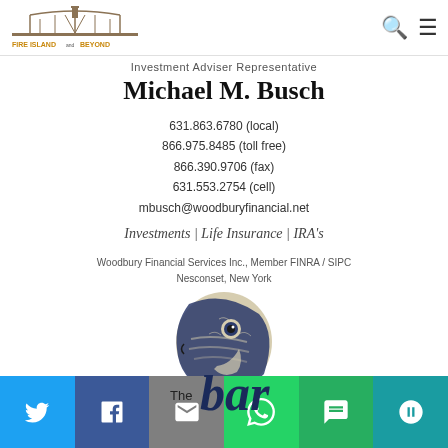Fire Island and Beyond — navigation header with logo, search and menu icons
Investment Adviser Representative
Michael M. Busch
631.863.6780 (local)
866.975.8485 (toll free)
866.390.9706 (fax)
631.553.2754 (cell)
mbusch@woodburyfinancial.net
Investments | Life Insurance | IRA's
Woodbury Financial Services Inc., Member FINRA / SIPC
Nesconset, New York
[Figure (illustration): Illustration of a striped bass fish head in dark navy blue and cream/beige tones]
The bar
Social sharing bar: Twitter, Facebook, Email, WhatsApp, SMS, More